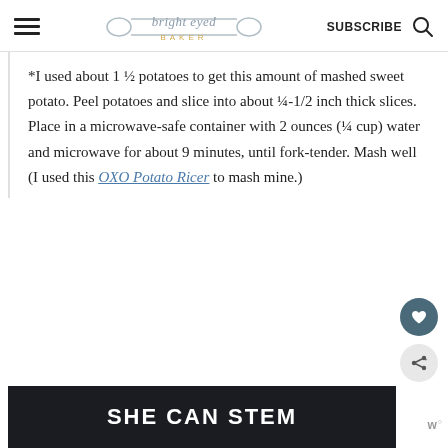bright eyed BAKER | SUBSCRIBE
*I used about 1 ½ potatoes to get this amount of mashed sweet potato. Peel potatoes and slice into about ¼-1/2 inch thick slices. Place in a microwave-safe container with 2 ounces (¼ cup) water and microwave for about 9 minutes, until fork-tender. Mash well (I used this OXO Potato Ricer to mash mine.)
[Figure (other): SHE CAN STEM dark banner advertisement at the bottom of the page]